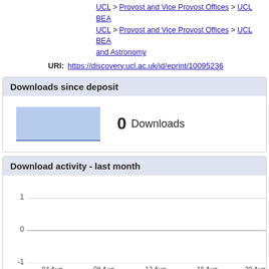UCL > Provost and Vice Provost Offices > UCL BEA
UCL > Provost and Vice Provost Offices > UCL BEA and Astronomy
URI: https://discovery.ucl.ac.uk/id/eprint/10095236
Downloads since deposit
[Figure (bar-chart): Downloads since deposit]
Download activity - last month
[Figure (line-chart): Download activity - last month]
Download activity - last 12 months